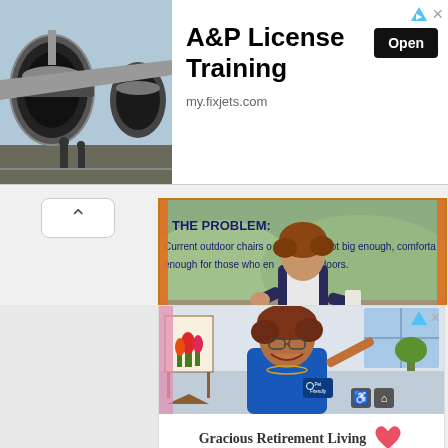[Figure (photo): Top advertisement banner: A&P License Training. Left side shows photo of large jet engine turbines with workers in background. Right side shows title 'A&P License Training', an 'Open' button, and URL my.fixjets.com]
[Figure (photo): High Point University advertisement showing a presenter speaking in front of a projected slide reading 'THE PROBLEM: Current outdoor chairs o... are not big enough, comfortable enough for those who en... outdoors.' with orange border decoration, orange 'LEARN MORE' button, and 'HIGH POINT UNIVERSITY' text on purple background.]
[Figure (photo): Gracious Retirement Living advertisement showing an older woman with curly hair wearing a blue top with 'Pet Friendly' badge, smiling and painting on an easel with colorful tulips. Bottom text reads 'Gracious Retirement Living' with a heart logo.]